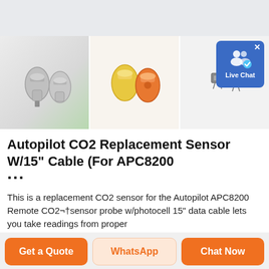[Figure (photo): Three product images side by side: silver metallic connectors on white/green background, yellow and orange connectors, and small electronic components on white background]
Autopilot CO2 Replacement Sensor W/15" Cable (For APC8200 ...
This is a replacement CO2 sensor for the Autopilot APC8200 Remote CO2¬†sensor probe w/photocell 15" data cable lets you take readings from proper
[Figure (screenshot): Live Chat button overlay in top right corner, blue background with white people icon and chat bubble icon, X close button]
Get a Quote
WhatsApp
Chat Now